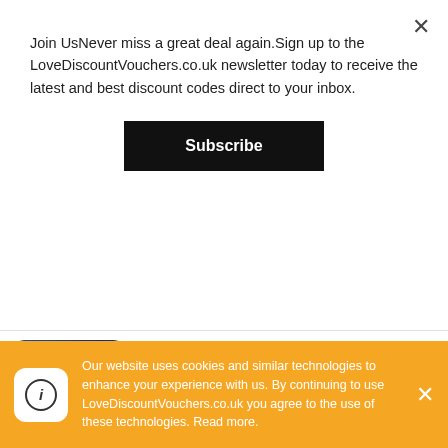Join UsNever miss a great deal again.Sign up to the LoveDiscountVouchers.co.uk newsletter today to receive the latest and best discount codes direct to your inbox.
Subscribe
[Figure (logo): Best Western Hotels & Resorts logo — dark blue square with 'BW' and 'Best Western. Hotels & Resorts' in white text]
Best Western UK Discount Code September 2022
Visit Best Western
Active Best Western UK Discount and
Our website uses cookies and similar technologies to enhance your experience with us. By continuing to use LoveDiscountVouchers.co.uk you agree to the use of these technologies. Read more.